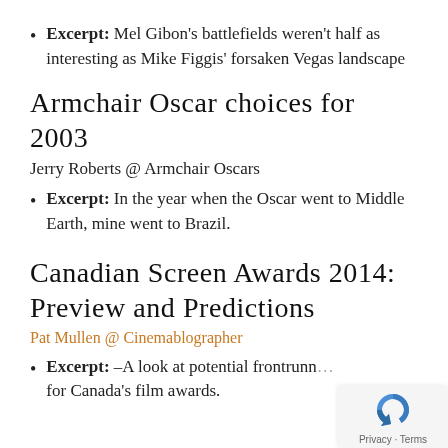Excerpt: Mel Gibon's battlefields weren't half as interesting as Mike Figgis' forsaken Vegas landscape
Armchair Oscar choices for 2003
Jerry Roberts @ Armchair Oscars
Excerpt: In the year when the Oscar went to Middle Earth, mine went to Brazil.
Canadian Screen Awards 2014: Preview and Predictions
Pat Mullen @ Cinemablographer
Excerpt: –A look at potential frontrunners for Canada's film awards.